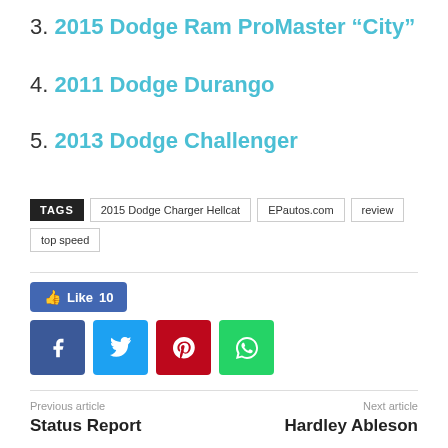3. 2015 Dodge Ram ProMaster “City”
4. 2011 Dodge Durango
5. 2013 Dodge Challenger
TAGS  2015 Dodge Charger Hellcat  EPautos.com  review  top speed
[Figure (other): Social sharing buttons: Facebook Like (10), Facebook, Twitter, Pinterest, WhatsApp]
Previous article  Status Report
Next article  Hardley Ableson